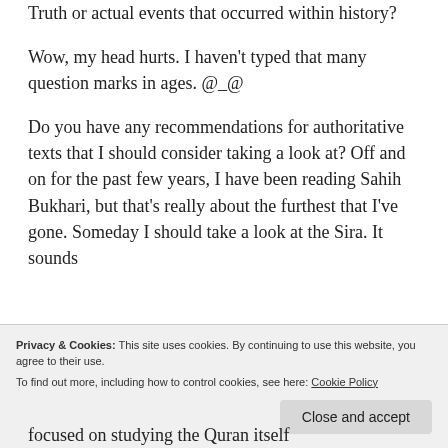Truth or actual events that occurred within history?
Wow, my head hurts. I haven't typed that many question marks in ages. @_@
Do you have any recommendations for authoritative texts that I should consider taking a look at? Off and on for the past few years, I have been reading Sahih Bukhari, but that's really about the furthest that I've gone. Someday I should take a look at the Sira. It sounds
Privacy & Cookies: This site uses cookies. By continuing to use this website, you agree to their use.
To find out more, including how to control cookies, see here: Cookie Policy
focused on studying the Quran itself